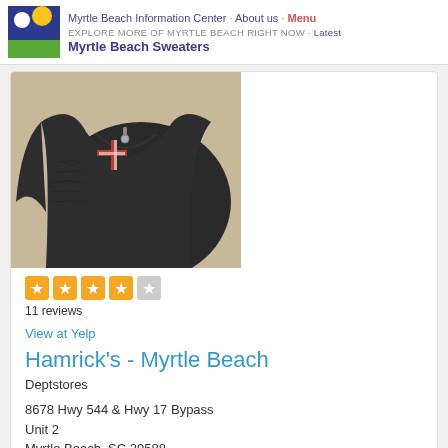Myrtle Beach Information Center · About us · Menu
EXPLORE MORE OF MYRTLE BEACH RIGHT NOW · Latest
Myrtle Beach Sweaters
[Figure (photo): Close-up photo of a dark grey/black sweater with a red and white pattern near the neckline, displayed on a beige/tan surface]
[Figure (other): Yelp star rating: 3.5 out of 5 stars (orange filled stars, partially filled last star, one empty star)]
11 reviews
View at Yelp
Hamrick's - Myrtle Beach
Deptstores
8678 Hwy 544 & Hwy 17 Bypass
Unit 2
Myrtle Beach, SC 29588